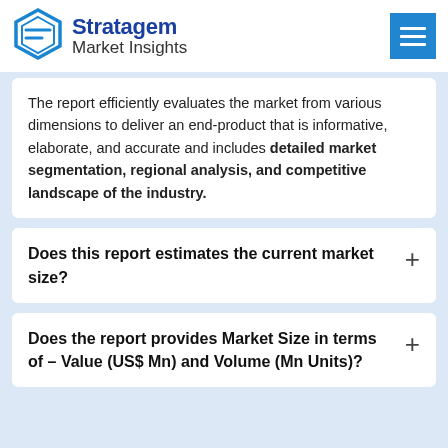Stratagem Market Insights
The report efficiently evaluates the market from various dimensions to deliver an end-product that is informative, elaborate, and accurate and includes detailed market segmentation, regional analysis, and competitive landscape of the industry.
Does this report estimates the current market size?
Does the report provides Market Size in terms of – Value (US$ Mn) and Volume (Mn Units)?